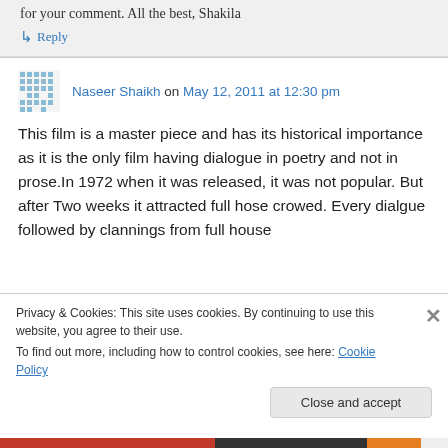for your comment. All the best, Shakila
↳ Reply
Naseer Shaikh on May 12, 2011 at 12:30 pm
This film is a master piece and has its historical importance as it is the only film having dialogue in poetry and not in prose.In 1972 when it was released, it was not popular. But after Two weeks it attracted full hose crowed. Every dialgue followed by clannings from full house
Privacy & Cookies: This site uses cookies. By continuing to use this website, you agree to their use.
To find out more, including how to control cookies, see here: Cookie Policy
Close and accept